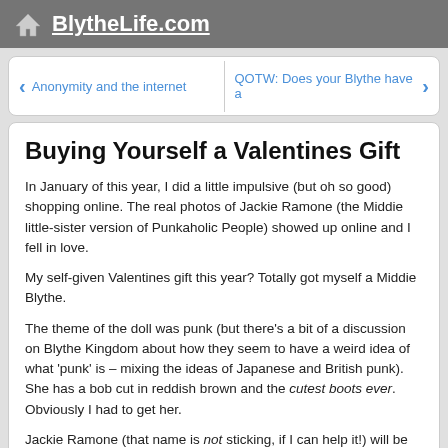BlytheLife.com
Anonymity and the internet   QOTW: Does your Blythe have a
Buying Yourself a Valentines Gift
In January of this year, I did a little impulsive (but oh so good) shopping online. The real photos of Jackie Ramone (the Middie little-sister version of Punkaholic People) showed up online and I fell in love.
My self-given Valentines gift this year? Totally got myself a Middie Blythe.
The theme of the doll was punk (but there's a bit of a discussion on Blythe Kingdom about how they seem to have a weird idea of what 'punk' is – mixing the ideas of Japanese and British punk). She has a bob cut in reddish brown and the cutest boots ever. Obviously I had to get her.
Jackie Ramone (that name is not sticking, if I can help it!) will be released sometime this month, so look forward to me blogging in the future about getting a new doll. Plus I'm new to Middie dolls, so I will be discussing that as well. Being new to Middie means a lot of things – new shoes, new clothes, new hats. A new size of doll in general to play with (hopefully she can wear some of my Blythes' tops as dresses or something!). But I will need to get my hands on shoes for her at least. Something besides the